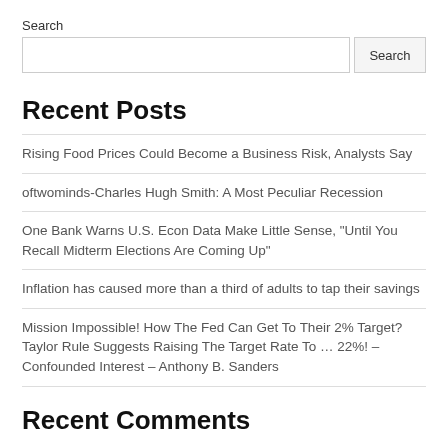Search
Recent Posts
Rising Food Prices Could Become a Business Risk, Analysts Say
oftwominds-Charles Hugh Smith: A Most Peculiar Recession
One Bank Warns U.S. Econ Data Make Little Sense, "Until You Recall Midterm Elections Are Coming Up"
Inflation has caused more than a third of adults to tap their savings
Mission Impossible! How The Fed Can Get To Their 2% Target? Taylor Rule Suggests Raising The Target Rate To … 22%! – Confounded Interest – Anthony B. Sanders
Recent Comments